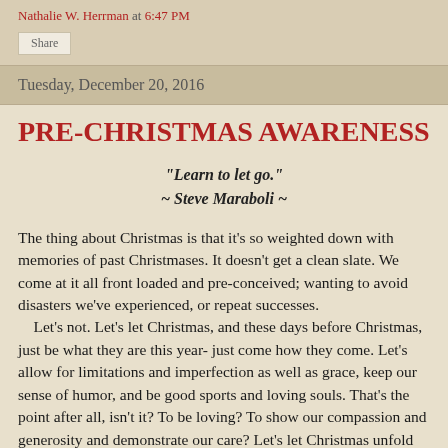Nathalie W. Herrman at 6:47 PM
Share
Tuesday, December 20, 2016
PRE-CHRISTMAS AWARENESS
"Learn to let go." ~ Steve Maraboli ~
The thing about Christmas is that it's so weighted down with memories of past Christmases. It doesn't get a clean slate. We come at it all front loaded and pre-conceived; wanting to avoid disasters we've experienced, or repeat successes. Let's not. Let's let Christmas, and these days before Christmas, just be what they are this year- just come how they come. Let's allow for limitations and imperfection as well as grace, keep our sense of humor, and be good sports and loving souls. That's the point after all, isn't it? To be loving? To show our compassion and generosity and demonstrate our care? Let's let Christmas unfold fresh and